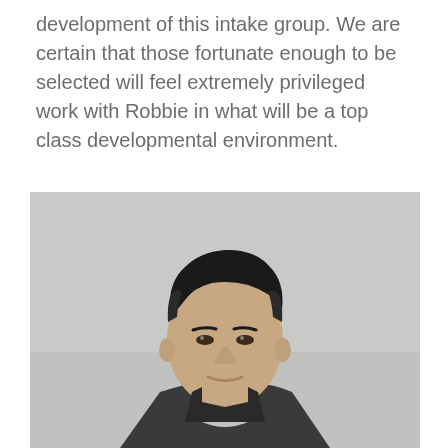development of this intake group. We are certain that those fortunate enough to be selected will feel extremely privileged work with Robbie in what will be a top class developmental environment.
[Figure (photo): Headshot photo of a young man with short dark hair styled to one side, wearing a dark jacket, photographed against a light grey background.]